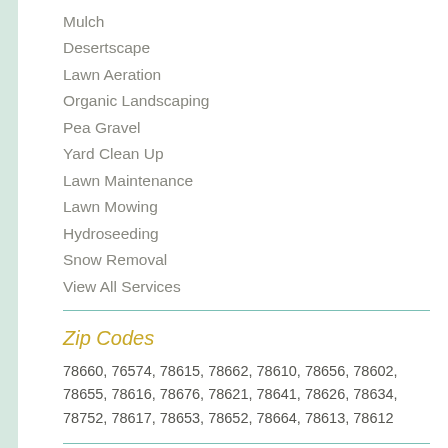Mulch
Desertscape
Lawn Aeration
Organic Landscaping
Pea Gravel
Yard Clean Up
Lawn Maintenance
Lawn Mowing
Hydroseeding
Snow Removal
View All Services
Zip Codes
78660, 76574, 78615, 78662, 78610, 78656, 78602, 78655, 78616, 78676, 78621, 78641, 78626, 78634, 78752, 78617, 78653, 78652, 78664, 78613, 78612